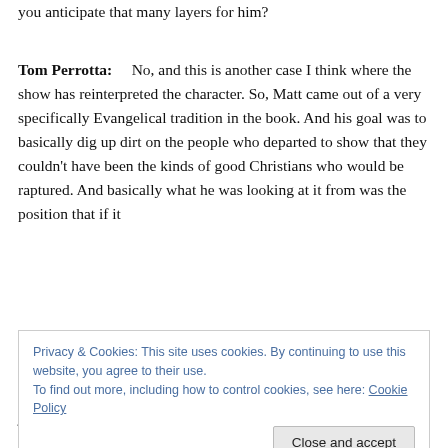you anticipate that many layers for him?
Tom Perrotta:     No, and this is another case I think where the show has reinterpreted the character. So, Matt came out of a very specifically Evangelical tradition in the book. And his goal was to basically dig up dirt on the people who departed to show that they couldn't have been the kinds of good Christians who would be raptured. And basically what he was looking at it from was the position that if it
Privacy & Cookies: This site uses cookies. By continuing to use this website, you agree to their use.
To find out more, including how to control cookies, see here: Cookie Policy
just feels like it doesn't make sense. But in the show he